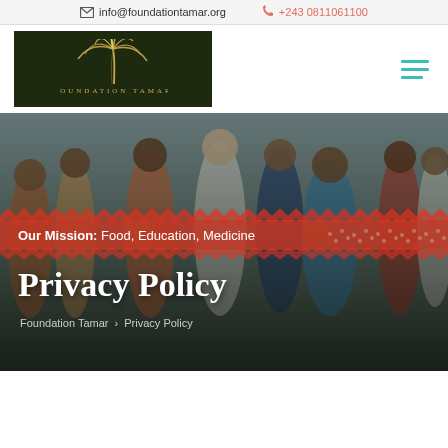info@foundationtamar.org   +243 0811061100
[Figure (logo): Foundation Tamar logo: dark olive green background with golden palm tree illustration and text FOUNDATION TAMAR below]
[Figure (photo): Group of African people holding boxes and packages, smiling, at a distribution event. Red banner overlay with mission text. Large white Privacy Policy title at bottom left.]
Our Mission: Food, Education, Medicine
Privacy Policy
Foundation Tamar > Privacy Policy